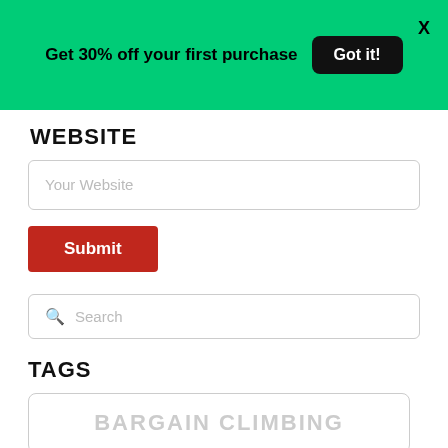Get 30% off your first purchase  Got it!  X
WEBSITE
Your Website
Submit
Search
TAGS
BARGAIN CLIMBING